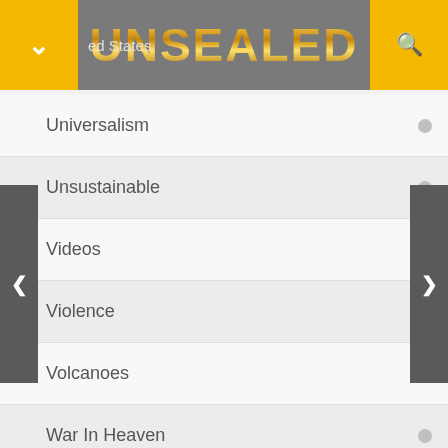[Figure (screenshot): Mobile app header bar with gold/yellow side buttons (chevron down and search icons), gray center with 'ed States' text and golden 'UNSEALED' title logo]
Universalism
Unsustainable
Videos
Violence
Volcanoes
War In Heaven
Wars
Weather
World News
Worship